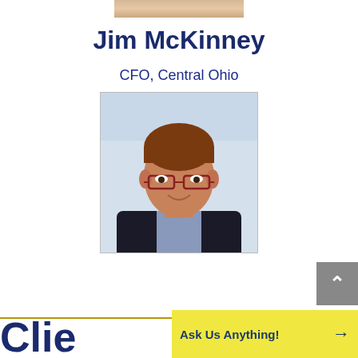[Figure (photo): Partial photo strip at top of page, cropped person visible]
Jim McKinney
CFO, Central Ohio
[Figure (photo): Headshot photo of Jim McKinney, a man with brown hair and glasses wearing a dark blazer, smiling, against a light blue background]
[Figure (other): Gray scroll-to-top button with upward arrow on right side]
Clie
[Figure (other): Yellow banner with text 'Ask Us Anything!' and a right arrow]